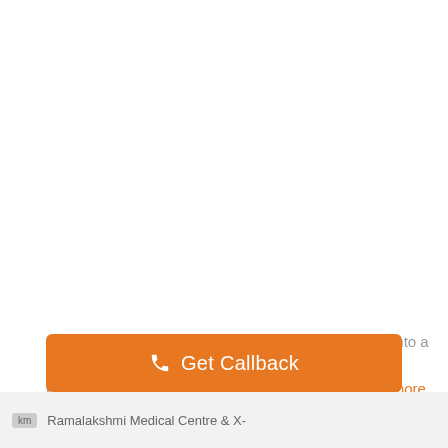Once a small village, Whitefield has now developed into a major IT hub of Bangalore. The Maharaja of Mysore, Chamaraja Wodeyar, granted acres of land ... know more
Get Callback
Ramalakshmi Medical Centre & X-